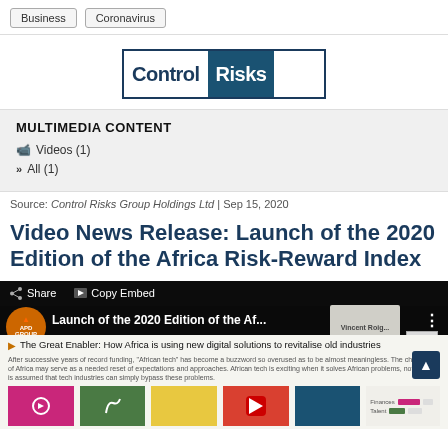Business | Coronavirus
[Figure (logo): Control Risks logo — white background with navy border, 'Control' in navy text and 'Risks' in white text on navy background]
MULTIMEDIA CONTENT
Videos (1)
All (1)
Source: Control Risks Group Holdings Ltd | Sep 15, 2020
Video News Release: Launch of the 2020 Edition of the Africa Risk-Reward Index
[Figure (screenshot): Video player screenshot showing 'Launch of the 2020 Edition of the Af...' with Share and Copy Embed buttons, APD Group logo, speaker thumbnail (Vincent Roig), and video content about 'The Great Enabler: How Africa is using new digital solutions to revitalise old industries']